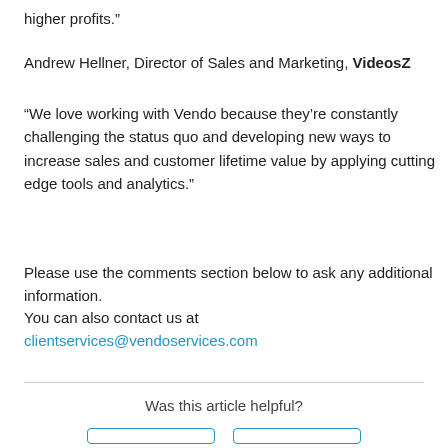higher profits.”
Andrew Hellner, Director of Sales and Marketing, VideosZ
“We love working with Vendo because they’re constantly challenging the status quo and developing new ways to increase sales and customer lifetime value by applying cutting edge tools and analytics.”
Please use the comments section below to ask any additional information.
You can also contact us at
clientservices@vendoservices.com
Was this article helpful?